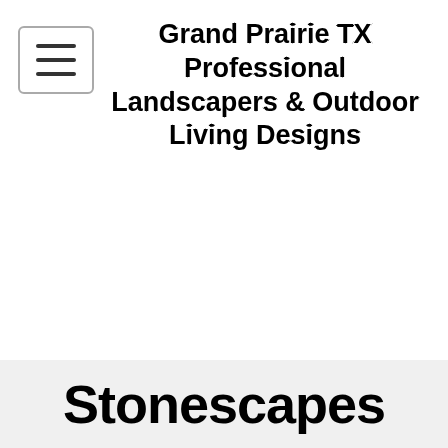Grand Prairie TX Professional Landscapers & Outdoor Living Designs
Stonescapes